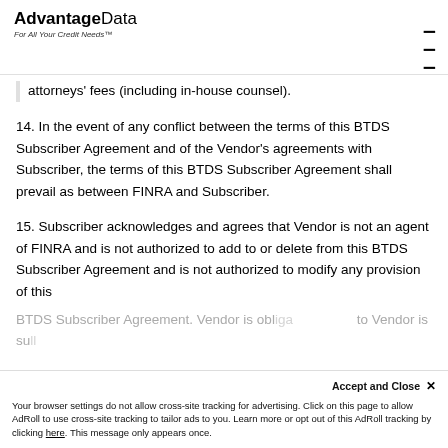AdvantageData — For All Your Credit Needs™
attorneys' fees (including in-house counsel).
14. In the event of any conflict between the terms of this BTDS Subscriber Agreement and of the Vendor's agreements with Subscriber, the terms of this BTDS Subscriber Agreement shall prevail as between FINRA and Subscriber.
15. Subscriber acknowledges and agrees that Vendor is not an agent of FINRA and is not authorized to add to or delete from this BTDS Subscriber Agreement and is not authorized to modify any provision of this
BTDS Subscriber Agreement. Vendor is obl... to Vendor is sull...
Accept and Close ×
Your browser settings do not allow cross-site tracking for advertising. Click on this page to allow AdRoll to use cross-site tracking to tailor ads to you. Learn more or opt out of this AdRoll tracking by clicking here. This message only appears once.